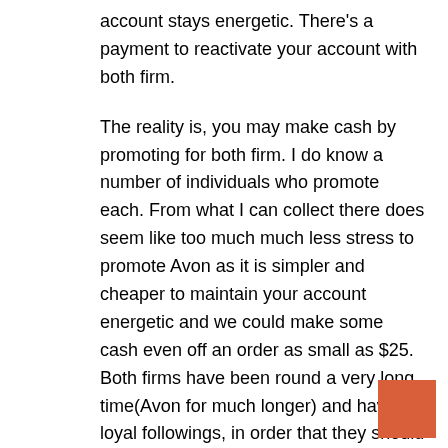account stays energetic. There's a payment to reactivate your account with both firm.

The reality is, you may make cash by promoting for both firm. I do know a number of individuals who promote each. From what I can collect there does seem like too much much less stress to promote Avon as it is simpler and cheaper to maintain your account energetic and we could make some cash even off an order as small as $25. Both firms have been round a very long time(Avon for much longer) and have loyal followings, in order that they should each be doing one thing proper! Personally I do not do any events and simply depend on the Avon brochure to do the promoting.

My spouse did not keep on with Mary Kay as a result of she is not the get together doing kind and it was costly to do and keep doing, however she by no means even tried Avon as